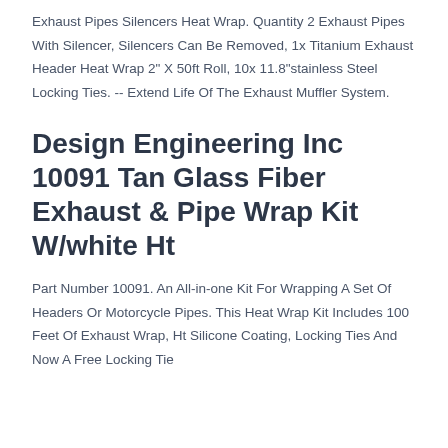Exhaust Pipes Silencers Heat Wrap. Quantity 2 Exhaust Pipes With Silencer, Silencers Can Be Removed, 1x Titanium Exhaust Header Heat Wrap 2" X 50ft Roll, 10x 11.8"stainless Steel Locking Ties. -- Extend Life Of The Exhaust Muffler System.
Design Engineering Inc 10091 Tan Glass Fiber Exhaust & Pipe Wrap Kit W/white Ht
Part Number 10091. An All-in-one Kit For Wrapping A Set Of Headers Or Motorcycle Pipes. This Heat Wrap Kit Includes 100 Feet Of Exhaust Wrap, Ht Silicone Coating, Locking Ties And Now A Free Locking Tie